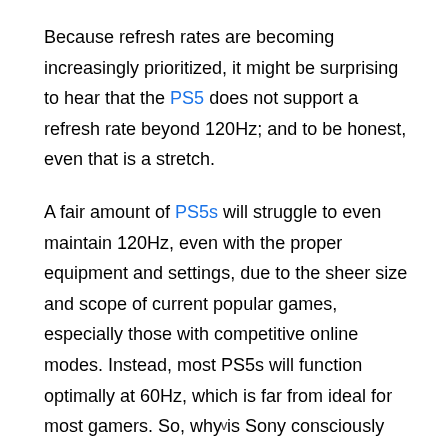Because refresh rates are becoming increasingly prioritized, it might be surprising to hear that the PS5 does not support a refresh rate beyond 120Hz; and to be honest, even that is a stretch.
A fair amount of PS5s will struggle to even maintain 120Hz, even with the proper equipment and settings, due to the sheer size and scope of current popular games, especially those with competitive online modes. Instead, most PS5s will function optimally at 60Hz, which is far from ideal for most gamers. So, why is Sony consciously holding their new consoles back when it comes to this
v